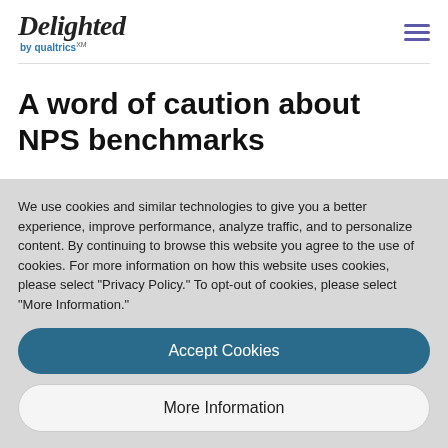Delighted by Qualtrics
A word of caution about NPS benchmarks
NPS industry benchmark comparisons are great
We use cookies and similar technologies to give you a better experience, improve performance, analyze traffic, and to personalize content. By continuing to browse this website you agree to the use of cookies. For more information on how this website uses cookies, please select "Privacy Policy." To opt-out of cookies, please select "More Information."
Accept Cookies
More Information